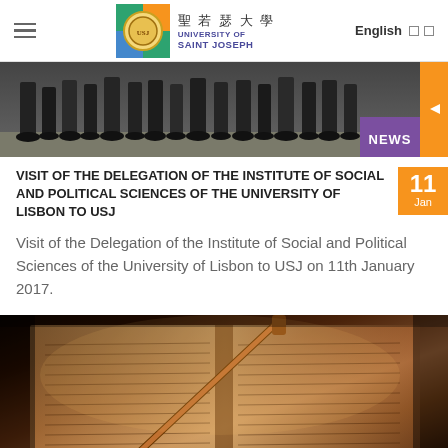University of Saint Joseph — Navigation bar with logo, English language selector
[Figure (photo): Hero image showing legs/feet of people standing, with a purple NEWS badge and orange arrow button on the right]
VISIT OF THE DELEGATION OF THE INSTITUTE OF SOCIAL AND POLITICAL SCIENCES OF THE UNIVERSITY OF LISBON TO USJ
Visit of the Delegation of the Institute of Social and Political Sciences of the University of Lisbon to USJ on 11th January 2017.
[Figure (photo): Close-up photograph of an ancient open scroll or manuscript with handwritten text, and a wooden pointer/yad resting on it, lit with warm amber tones]